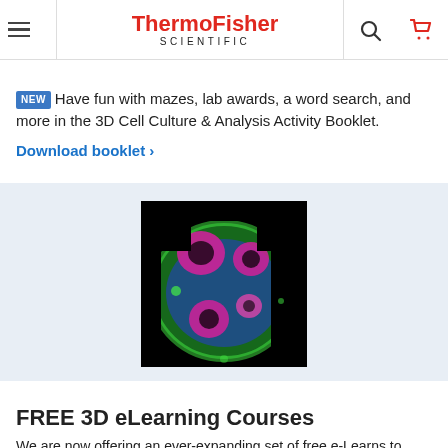ThermoFisher SCIENTIFIC — navigation header with hamburger menu, search and cart icons
NEW Have fun with mazes, lab awards, a word search, and more in the 3D Cell Culture & Analysis Activity Booklet.
Download booklet ›
[Figure (photo): Fluorescence microscopy image of 3D cell culture organoid showing pink/magenta and green fluorescent cells against black background]
FREE 3D eLearning Courses
We are now offering an ever-expanding set of free e-Learns to